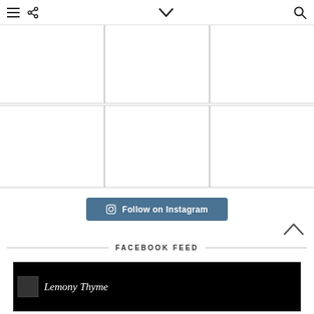Navigation bar with menu, share, dropdown, and search icons
[Figure (screenshot): Instagram photo grid with 6 empty/white image cells in a 2-row, 3-column layout]
Follow on Instagram
FACEBOOK FEED
[Figure (screenshot): Facebook feed card showing Lemony Thyme branding on black background]